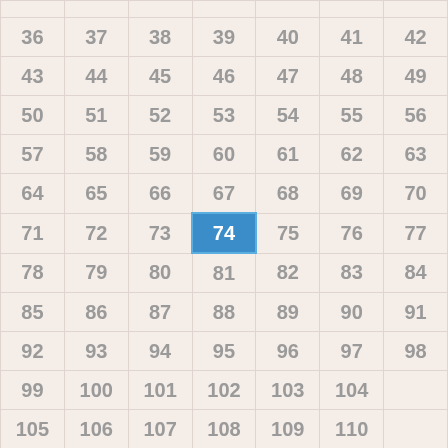|  |  |  |  |  |  |  |
| 36 | 37 | 38 | 39 | 40 | 41 | 42 |
| 43 | 44 | 45 | 46 | 47 | 48 | 49 |
| 50 | 51 | 52 | 53 | 54 | 55 | 56 |
| 57 | 58 | 59 | 60 | 61 | 62 | 63 |
| 64 | 65 | 66 | 67 | 68 | 69 | 70 |
| 71 | 72 | 73 | 74 | 75 | 76 | 77 |
| 78 | 79 | 80 | 81 | 82 | 83 | 84 |
| 85 | 86 | 87 | 88 | 89 | 90 | 91 |
| 92 | 93 | 94 | 95 | 96 | 97 | 98 |
| 99 | 100 | 101 | 102 | 103 | 104 |  |
| 105 | 106 | 107 | 108 | 109 | 110 |  |